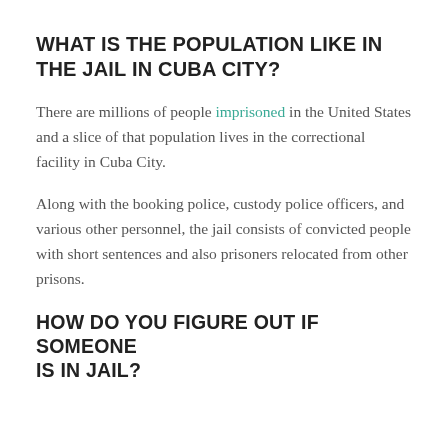WHAT IS THE POPULATION LIKE IN THE JAIL IN CUBA CITY?
There are millions of people imprisoned in the United States and a slice of that population lives in the correctional facility in Cuba City.
Along with the booking police, custody police officers, and various other personnel, the jail consists of convicted people with short sentences and also prisoners relocated from other prisons.
HOW DO YOU FIGURE OUT IF SOMEONE IS IN JAIL?